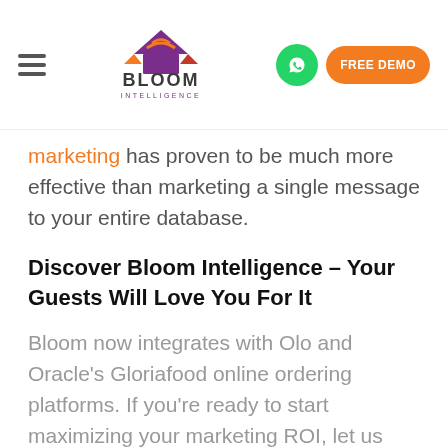Bloom Intelligence — navigation bar with logo, hamburger menu, WhatsApp button, and FREE DEMO button
marketing has proven to be much more effective than marketing a single message to your entire database.
Discover Bloom Intelligence – Your Guests Will Love You For It
Bloom now integrates with Olo and Oracle's Gloriafood online ordering platforms. If you're ready to start maximizing your marketing ROI, let us show you how.